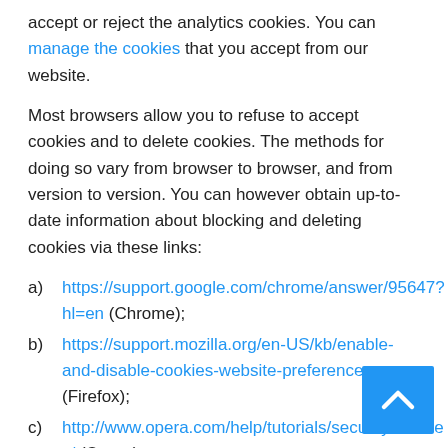accept or reject the analytics cookies. You can manage the cookies that you accept from our website.
Most browsers allow you to refuse to accept cookies and to delete cookies. The methods for doing so vary from browser to browser, and from version to version. You can however obtain up-to-date information about blocking and deleting cookies via these links:
a) https://support.google.com/chrome/answer/95647?hl=en (Chrome);
b) https://support.mozilla.org/en-US/kb/enable-and-disable-cookies-website-preferences (Firefox);
c) http://www.opera.com/help/tutorials/security/cookies/ (Opera);
d) https://support.microsoft.com/en-gb/help/17442/windows-internet-explorer-delete-